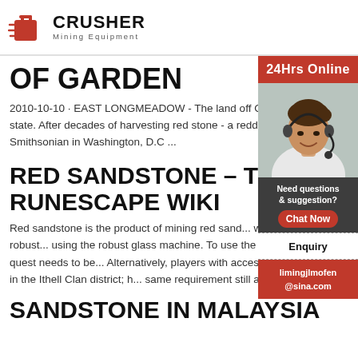CRUSHER Mining Equipment
OF GARDEN
2010-10-10 · EAST LONGMEADOW - The land off Old Farm Road is returning to its natural state. After decades of harvesting red stone - a reddish brown sandstone used to build the Smithsonian in Washington, D.C ...
RED SANDSTONE – THE RUNESCAPE WIKI
Red sandstone is the product of mining red sandstone with Mining level 81. It can be made into robust glass using the robust glass machine. To use the machine in Oo'glog, the As a First Resort quest needs to be completed. Alternatively, players with access to Prifddinas can use the robust glass machine in the Ithell Clan district; however, the same requirement still applies.
SANDSTONE IN MALAYSIA
[Figure (photo): Customer service agent (woman with headset) with 24Hrs Online label, chat/enquiry contact sidebar widget]
24Hrs Online
Need questions & suggestion? Chat Now
Enquiry
limingjlmofen@sina.com